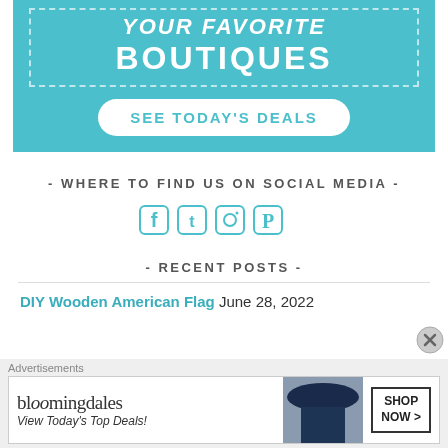[Figure (other): Teal/cyan advertisement banner with dashed border containing 'YOUR FAVORITE BOUTIQUES' text and a 'SEE TODAY'S DEALS' button]
- WHERE TO FIND US ON SOCIAL MEDIA -
[Figure (other): Social media icons: Facebook, Twitter, Instagram, Pinterest in teal color]
- RECENT POSTS -
DIY Wooden American Flag June 28, 2022
[Figure (other): Bloomingdale's advertisement banner: 'bloomingdales - View Today's Top Deals!' with woman in hat and SHOP NOW button]